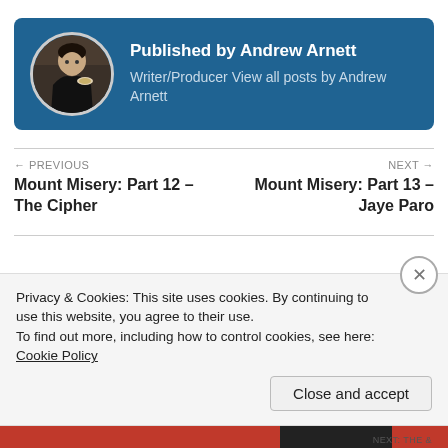[Figure (photo): Author card with circular portrait photo of Andrew Arnett on a dark blue background]
Published by Andrew Arnett
Writer/Producer View all posts by Andrew Arnett
← PREVIOUS
Mount Misery: Part 12 – The Cipher
NEXT →
Mount Misery: Part 13 – Jaye Paro
Privacy & Cookies: This site uses cookies. By continuing to use this website, you agree to their use.
To find out more, including how to control cookies, see here: Cookie Policy
Close and accept